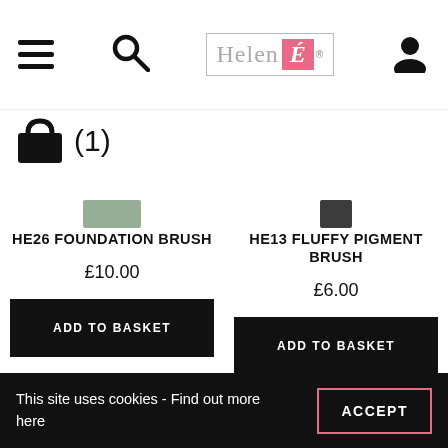Helen É — navigation header with hamburger menu, search, logo, and user icon
(1) basket
HE26 FOUNDATION BRUSH
£10.00
ADD TO BASKET
HE13 FLUFFY PIGMENT BRUSH
£6.00
ADD TO BASKET
This site uses cookies -  Find out more here
ACCEPT